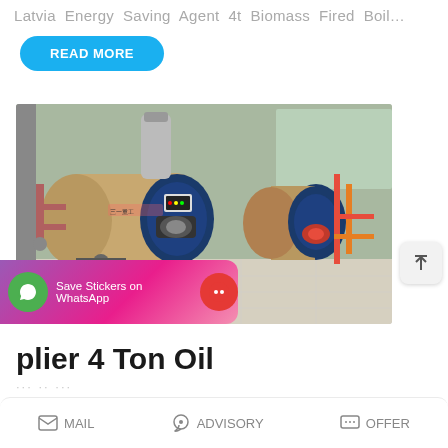Latvia Energy Saving Agent 4t Biomass Fired Boil…
READ MORE
[Figure (photo): Industrial boiler room showing two large horizontal cylindrical boilers — a tan/beige colored boiler in the foreground with a blue front panel and burner assembly, and a second similar boiler behind it. Various pipes, valves, supports visible. Located inside an industrial facility with concrete floor and structural columns.]
Save Stickers on WhatsApp
plier 4 Ton Oil
MAIL   ADVISORY   OFFER